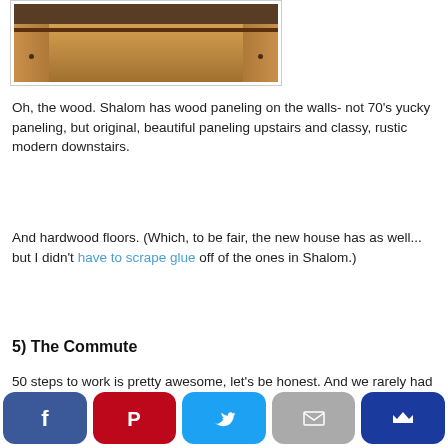[Figure (photo): Interior wooden paneling and cabinetry, showing rustic wood furniture and shelving in warm brown tones]
Oh, the wood. Shalom has wood paneling on the walls- not 70's yucky paneling, but original, beautiful paneling upstairs and classy, rustic modern downstairs.
And hardwood floors. (Which, to be fair, the new house has as well... but I didn't have to scrape glue off of the ones in Shalom.)
5) The Commute
50 steps to work is pretty awesome, let's be honest. And we rarely had to buy gas.
[Figure (infographic): Social sharing bar with Facebook, Pinterest, Twitter, Email, and Crown/Subscribe buttons]